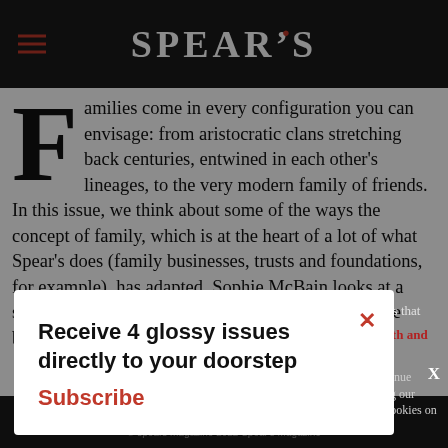SPEAR'S
Families come in every configuration you can envisage: from aristocratic clans stretching back centuries, entwined in each other's lineages, to the very modern family of friends. In this issue, we think about some of the ways the concept of family, which is at the heart of a lot of what Spear's does (family businesses, trusts and foundations, for example), has adapted. Sophie McBain looks at a surprising set of displaced families: royals who have been dethroned,
...it's that ...s. ...eath and 'in ... continue using our ...all cookies on this
Receive 4 glossy issues directly to your doorstep
Subscribe
Continue   Learn more